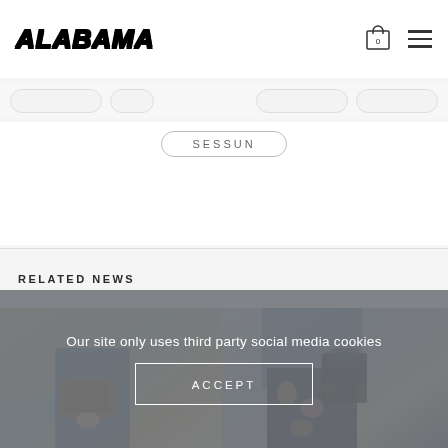ALABAMA
SESSUN
RELATED NEWS
[Figure (photo): Fashion photo showing person holding brown bag, wearing blue denim skirt, against warm sky background]
[Figure (photo): Fashion photo showing person in leather jacket holding black bag, wearing floral/lace skirt]
Our site only uses third party social media cookies
ACCEPT